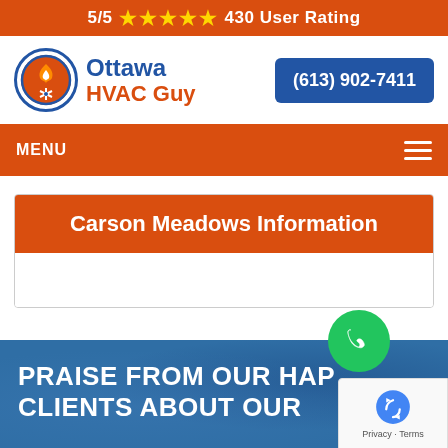5/5 ★★★★★ 430 User Rating
[Figure (logo): Ottawa HVAC Guy logo with circular icon showing flame and snowflake]
(613) 902-7411
MENU
Carson Meadows Information
PRAISE FROM OUR HAP CLIENTS ABOUT OUR